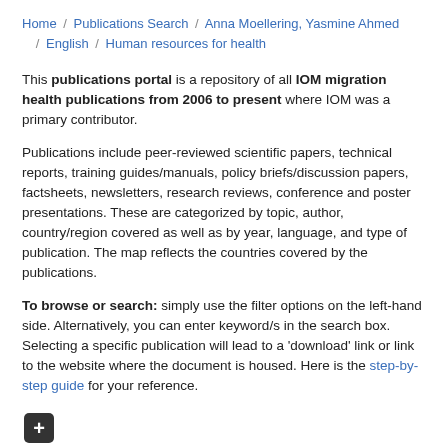Home / Publications Search / Anna Moellering, Yasmine Ahmed / English / Human resources for health
This publications portal is a repository of all IOM migration health publications from 2006 to present where IOM was a primary contributor.
Publications include peer-reviewed scientific papers, technical reports, training guides/manuals, policy briefs/discussion papers, factsheets, newsletters, research reviews, conference and poster presentations. These are categorized by topic, author, country/region covered as well as by year, language, and type of publication. The map reflects the countries covered by the publications.
To browse or search: simply use the filter options on the left-hand side. Alternatively, you can enter keyword/s in the search box. Selecting a specific publication will lead to a 'download' link or link to the website where the document is housed. Here is the step-by-step guide for your reference.